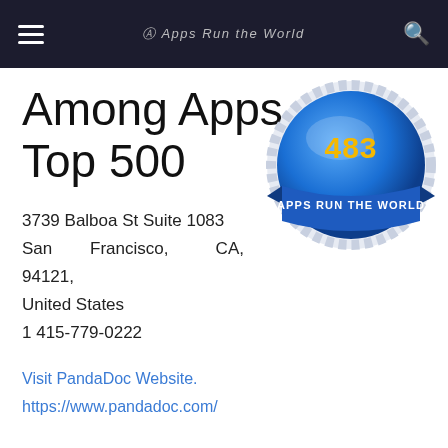Apps Run The World
Among Apps Top 500
[Figure (logo): Blue circular badge with gear border, number 483 in yellow, and 'APPS RUN THE WORLD' banner ribbon]
3739 Balboa St Suite 1083
San Francisco, CA, 94121, United States
1 415-779-0222
Visit PandaDoc Website.
https://www.pandadoc.com/
PandaDoc Strengths, Domain Expertise and Key Differentiators